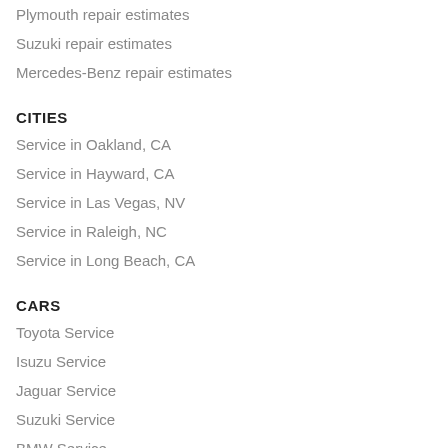Plymouth repair estimates
Suzuki repair estimates
Mercedes-Benz repair estimates
CITIES
Service in Oakland, CA
Service in Hayward, CA
Service in Las Vegas, NV
Service in Raleigh, NC
Service in Long Beach, CA
CARS
Toyota Service
Isuzu Service
Jaguar Service
Suzuki Service
BMW Service
MAINTENANCE